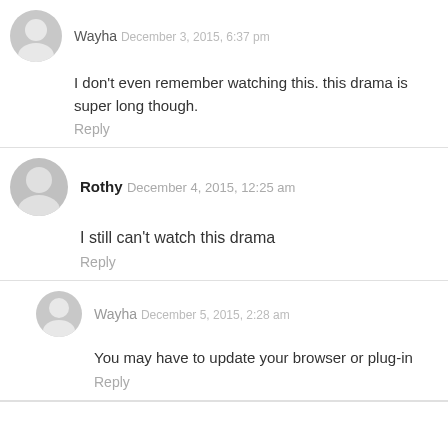[Figure (illustration): Gray circular avatar icon with person silhouette]
Wayha December 3, 2015, 6:37 pm
I don't even remember watching this. this drama is super long though.
Reply
[Figure (illustration): Gray circular avatar icon with person silhouette]
Rothy December 4, 2015, 12:25 am
I still can't watch this drama
Reply
[Figure (illustration): Gray circular avatar icon with person silhouette]
Wayha December 5, 2015, 2:28 am
You may have to update your browser or plug-in
Reply